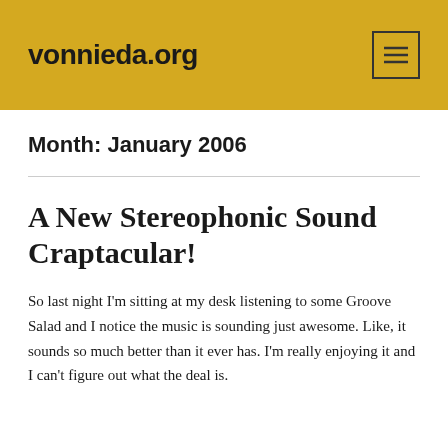vonnieda.org
Month: January 2006
A New Stereophonic Sound Craptacular!
So last night I'm sitting at my desk listening to some Groove Salad and I notice the music is sounding just awesome. Like, it sounds so much better than it ever has. I'm really enjoying it and I can't figure out what the deal is.